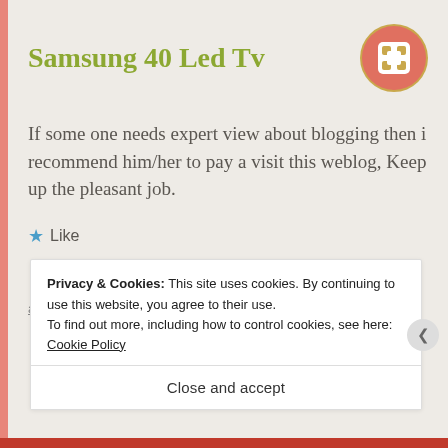Samsung 40 Led Tv
If some one needs expert view about blogging then i recommend him/her to pay a visit this weblog, Keep up the pleasant job.
★ Like
↳ LOG IN TO REPLY
Privacy & Cookies: This site uses cookies. By continuing to use this website, you agree to their use.
To find out more, including how to control cookies, see here: Cookie Policy
Close and accept